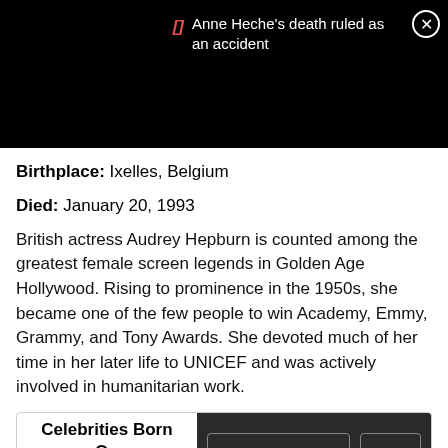Anne Heche's death ruled as an accident
Birthplace: Ixelles, Belgium
Died: January 20, 1993
British actress Audrey Hepburn is counted among the greatest female screen legends in Golden Age Hollywood. Rising to prominence in the 1950s, she became one of the few people to win Academy, Emmy, Grammy, and Tony Awards. She devoted much of her time in her later life to UNICEF and was actively involved in humanitarian work.
Celebrities Born On My Birthday? Enter Your DOB GO